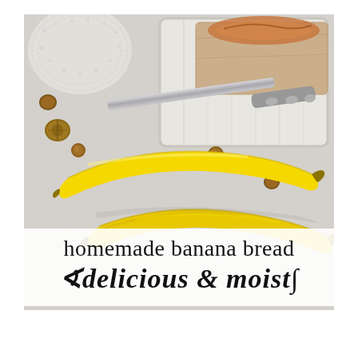[Figure (photo): Overhead flat-lay photo showing two yellow bananas on a light grey marble/stone surface, with scattered hazelnuts/walnuts, a decorative silver butter knife, a white wooden tray, and a loaf of banana bread wrapped in brown paper in the upper right corner. A white lace doily is visible in the upper left.]
homemade banana bread delicious & moist